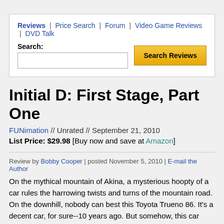Reviews | Price Search | Forum | Video Game Reviews | DVD Talk
Search: [Search Reviews]
Initial D: First Stage, Part One
FUNimation // Unrated // September 21, 2010
List Price: $29.98 [Buy now and save at Amazon]
Review by Bobby Cooper | posted November 5, 2010 | E-mail the Author
On the mythical mountain of Akina, a mysterious hoopty of a car rules the harrowing twists and turns of the mountain road. On the downhill, nobody can best this Toyota Trueno 86. It's a decent car, for sure--10 years ago. But somehow, this car passes brand new, tricked out, muscle cars with the greatest of